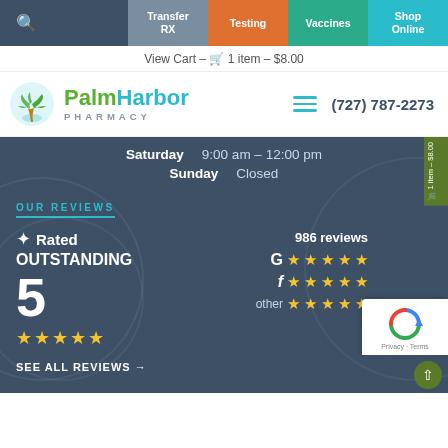Transfer RX | Testing | Vaccines | Shop Online
View Cart – 1 item – $8.00
[Figure (logo): Palm Harbor Pharmacy logo with palm tree icon and text]
(727) 787-2273
Saturday  9:00 am – 12:00 pm
Sunday  Closed
OUR REVIEWS
Rated OUTSTANDING 5 ★★★★★
986 reviews
G ★★★★★
f ★★★★★
other ★★★★★
SEE ALL REVIEWS →